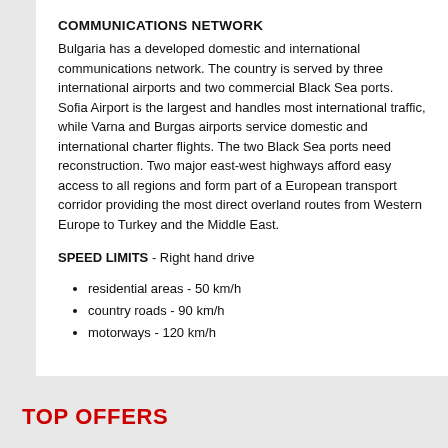COMMUNICATIONS NETWORK
Bulgaria has a developed domestic and international communications network. The country is served by three international airports and two commercial Black Sea ports. Sofia Airport is the largest and handles most international traffic, while Varna and Burgas airports service domestic and international charter flights. The two Black Sea ports need reconstruction. Two major east-west highways afford easy access to all regions and form part of a European transport corridor providing the most direct overland routes from Western Europe to Turkey and the Middle East.
SPEED LIMITS - Right hand drive
residential areas - 50 km/h
country roads - 90 km/h
motorways - 120 km/h
TOP OFFERS